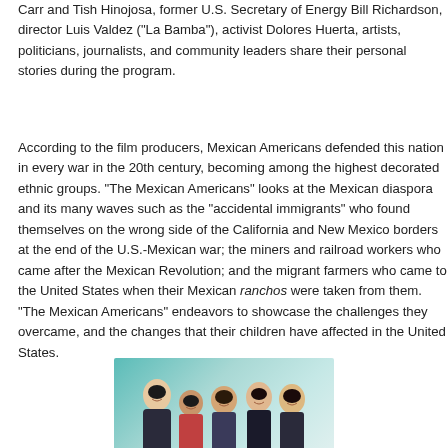Carr and Tish Hinojosa, former U.S. Secretary of Energy Bill Richardson, director Luis Valdez ("La Bamba"), activist Dolores Huerta, artists, politicians, journalists, and community leaders share their personal stories during the program.
According to the film producers, Mexican Americans defended this nation in every war in the 20th century, becoming among the highest decorated ethnic groups. "The Mexican Americans" looks at the Mexican diaspora and its many waves such as the "accidental immigrants" who found themselves on the wrong side of the California and New Mexico borders at the end of the U.S.-Mexican war; the miners and railroad workers who came after the Mexican Revolution; and the migrant farmers who came to the United States when their Mexican ranchos were taken from them. "The Mexican Americans" endeavors to showcase the challenges they overcame, and the changes that their children have affected in the United States.
[Figure (photo): A group photo of people smiling, appearing to be a promotional or documentary image against a teal/turquoise background.]